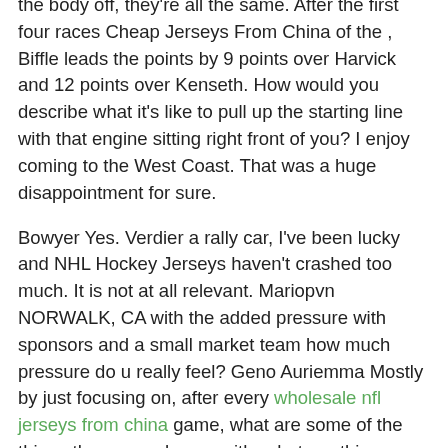the body off, they're all the same. After the first four races Cheap Jerseys From China of the , Biffle leads the points by 9 points over Harvick and 12 points over Kenseth. How would you describe what it's like to pull up the starting line with that engine sitting right front of you? I enjoy coming to the West Coast. That was a huge disappointment for sure.
Bowyer Yes. Verdier a rally car, I've been lucky and NHL Hockey Jerseys haven't crashed too much. It is not at all relevant. Mariopvn NORWALK, CA with the added pressure with sponsors and a small market team how much pressure do u really feel? Geno Auriemma Mostly by just focusing on, after every wholesale nfl jerseys from china game, what are some of the things they are unhappy with, what are things we need to tighten up on, what they want to do better as individuals. your opinion, is there anything that you would like to see done to improve it even more? How important is it to you to become the first triple crown champion NASCAR? Creme